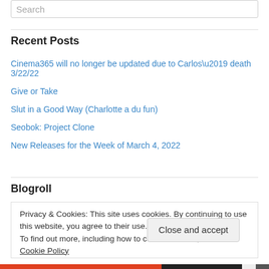Search
Recent Posts
Cinema365 will no longer be updated due to Carlos’ death 3/22/22
Give or Take
Slut in a Good Way (Charlotte a du fun)
Seobok: Project Clone
New Releases for the Week of March 4, 2022
Blogroll
Privacy & Cookies: This site uses cookies. By continuing to use this website, you agree to their use.
To find out more, including how to control cookies, see here: Cookie Policy
Close and accept